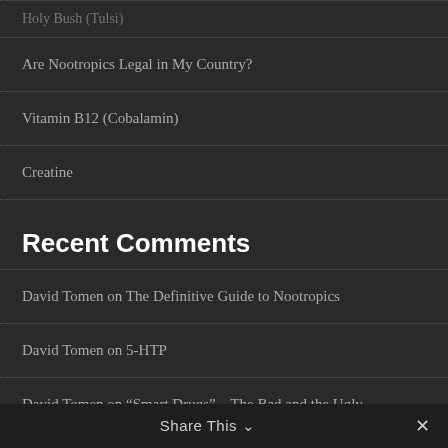Holy Basil (Tulsi)
Are Nootropics Legal in My Country?
Vitamin B12 (Cobalamin)
Creatine
Recent Comments
David Tomen on The Definitive Guide to Nootropics
David Tomen on 5-HTP
David Tomen on “Smart Drugs” – The Bad and the Ugly
David Tomen on Kratom
Share This ⌄